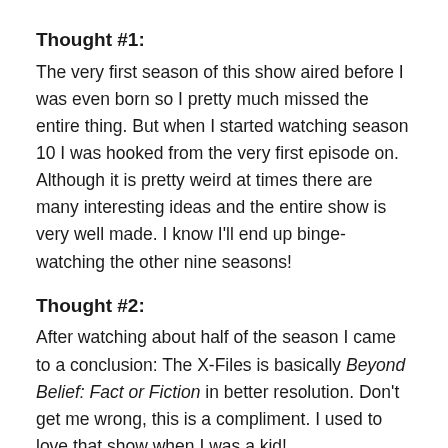Thought #1:
The very first season of this show aired before I was even born so I pretty much missed the entire thing. But when I started watching season 10 I was hooked from the very first episode on. Although it is pretty weird at times there are many interesting ideas and the entire show is very well made. I know I'll end up binge-watching the other nine seasons!
Thought #2:
After watching about half of the season I came to a conclusion: The X-Files is basically Beyond Belief: Fact or Fiction in better resolution. Don't get me wrong, this is a compliment. I used to love that show when I was a kid!
Continue reading →